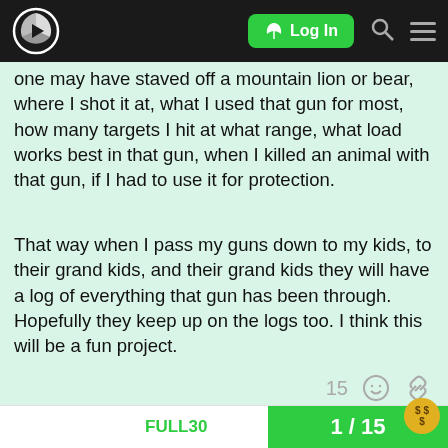Log In
one may have staved off a mountain lion or bear, where I shot it at, what I used that gun for most, how many targets I hit at what range, what load works best in that gun, when I killed an animal with that gun, if I had to use it for protection.
That way when I pass my guns down to my kids, to their grand kids, and their grand kids they will have a log of everything that gun has been through. Hopefully they keep up on the logs too. I think this will be a fun project.
created May '20  last reply May '20  14 replies  Back  FULL30  1 / 15